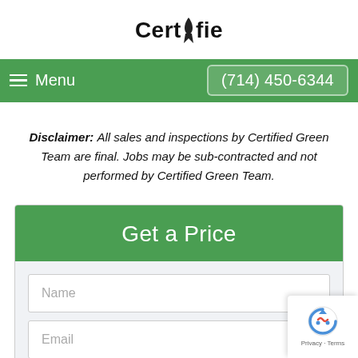[Figure (logo): Certifie logo with checkmark icon embedded in the letter i]
Menu   (714) 450-6344
Disclaimer: All sales and inspections by Certified Green Team are final. Jobs may be sub-contracted and not performed by Certified Green Team.
Get a Price
[Figure (screenshot): Form with Name and Email fields, reCAPTCHA badge visible in bottom right]